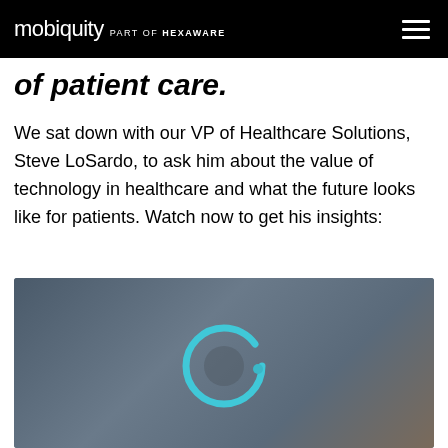mobiquity part of HEXAWARE
of patient care.
We sat down with our VP of Healthcare Solutions, Steve LoSardo, to ask him about the value of technology in healthcare and what the future looks like for patients. Watch now to get his insights:
[Figure (screenshot): Video thumbnail showing a blurred scene with a teal circular loading/play ring indicator in the center]